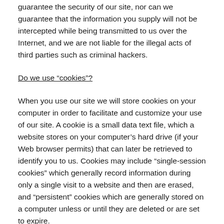guarantee the security of our site, nor can we guarantee that the information you supply will not be intercepted while being transmitted to us over the Internet, and we are not liable for the illegal acts of third parties such as criminal hackers.
Do we use “cookies”?
When you use our site we will store cookies on your computer in order to facilitate and customize your use of our site. A cookie is a small data text file, which a website stores on your computer’s hard drive (if your Web browser permits) that can later be retrieved to identify you to us. Cookies may include “single-session cookies” which generally record information during only a single visit to a website and then are erased, and “persistent” cookies which are generally stored on a computer unless or until they are deleted or are set to expire.